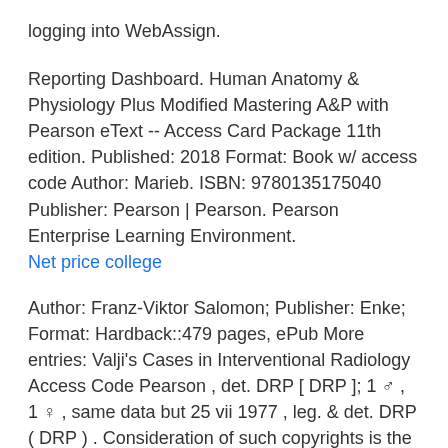logging into WebAssign.
Reporting Dashboard. Human Anatomy & Physiology Plus Modified Mastering A&P with Pearson eText -- Access Card Package 11th edition. Published: 2018 Format: Book w/ access code Author: Marieb. ISBN: 9780135175040 Publisher: Pearson | Pearson. Pearson Enterprise Learning Environment.
Net price college
Author: Franz-Viktor Salomon; Publisher: Enke; Format: Hardback::479 pages, ePub More entries: Valji's Cases in Interventional Radiology Access Code Pearson , det. DRP [ DRP ]; 1 ♂ , 1 ♀ , same data but 25 vii 1977 , leg. & det. DRP ( DRP ) . Consideration of such copyrights is the